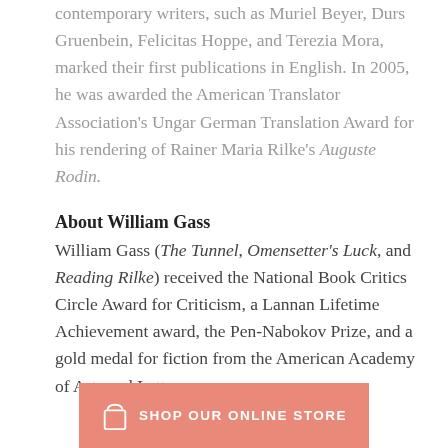contemporary writers, such as Muriel Beyer, Durs Gruenbein, Felicitas Hoppe, and Terezia Mora, marked their first publications in English. In 2005, he was awarded the American Translator Association's Ungar German Translation Award for his rendering of Rainer Maria Rilke's Auguste Rodin.
About William Gass
William Gass (The Tunnel, Omensetter's Luck, and Reading Rilke) received the National Book Critics Circle Award for Criticism, a Lannan Lifetime Achievement award, the Pen-Nabokov Prize, and a gold medal for fiction from the American Academy of Arts and Letters.
[Figure (infographic): Pink/salmon colored banner with a shopping bag icon and text reading SHOP OUR ONLINE STORE]